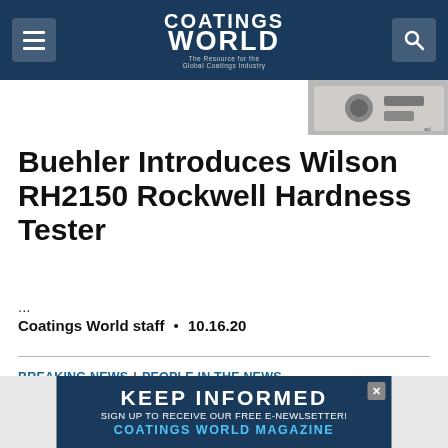Coatings World — The Resource for the Global Coatings Industry
[Figure (screenshot): Advertisement thumbnail top right — industrial equipment]
Buehler Introduces Wilson RH2150 Rockwell Hardness Tester
...
Coatings World staff • 10.16.20
BREAKING NEWS | PEOPLE IN THE NEWS
[Figure (photo): Headshot of a man in a suit — sidebar photo]
[Figure (screenshot): Bottom banner ad: KEEP INFORMED — SIGN UP TO RECEIVE OUR FREE E-NEWLSETTER! COATINGS WORLD MAGAZINE]